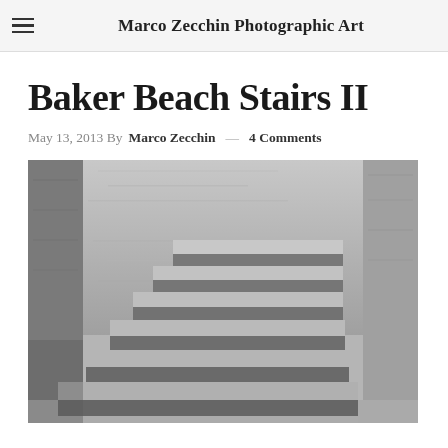Marco Zecchin Photographic Art
Baker Beach Stairs II
May 13, 2013 By Marco Zecchin — 4 Comments
[Figure (photo): Black and white photograph of concrete stairs at Baker Beach, with textured stone walls on both sides. The stairs ascend from lower left to upper right, with multiple steps visible in an enclosed stairwell setting.]